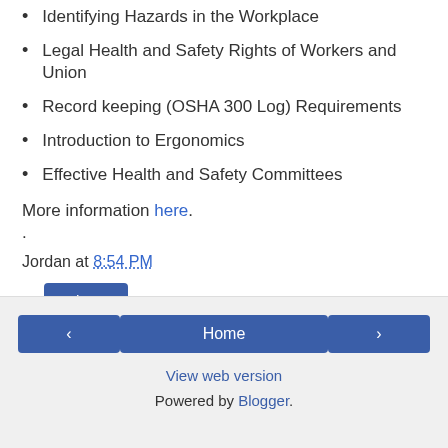Identifying Hazards in the Workplace
Legal Health and Safety Rights of Workers and Union
Record keeping (OSHA 300 Log) Requirements
Introduction to Ergonomics
Effective Health and Safety Committees
More information here.
.
Jordan at 8:54 PM
Share
‹  Home  ›  View web version  Powered by Blogger.